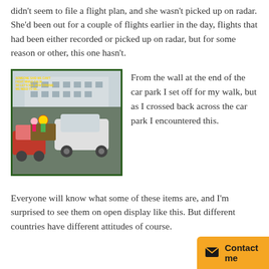didn't seem to file a flight plan, and she wasn't picked up on radar. She'd been out for a couple of flights earlier in the day, flights that had been either recorded or picked up on radar, but for some reason or other, this one hasn't.
[Figure (photo): A car park scene showing cars and a trailer with what appears to be novelty/funfair items on display. A building is visible in the background.]
From the wall at the end of the car park I set off for my walk, but as I crossed back across the car park I encountered this.
Everyone will know what some of these items are, and I'm surprised to see them on open display like this. But different countries have different attitudes of course.